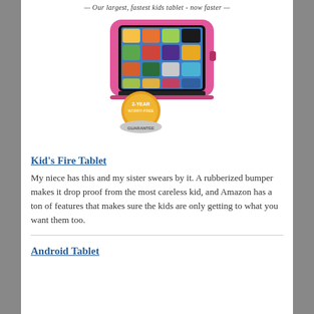— Our largest, fastest kids tablet - now faster —
[Figure (photo): Amazon Kids Fire Tablet in pink rubberized bumper case, showing colorful app icons on screen, with a 2-Year Worry-Free Guarantee badge in the foreground.]
Kid's Fire Tablet
My niece has this and my sister swears by it. A rubberized bumper makes it drop proof from the most careless kid, and Amazon has a ton of features that makes sure the kids are only getting to what you want them too.
Android Tablet